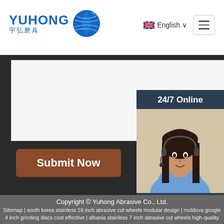[Figure (logo): Yuhong 宇弘磨具 logo with blue globe/wave icon]
English ∨
[Figure (illustration): Hamburger menu button icon]
Submit Now
24/7 Online
[Figure (photo): Woman with headset smiling, customer service representative]
Click here for free chat！
QUOTATION
Copyright © Yuhong Abrasive Co., Ltd.
Sitemap | south korea stainless 16 inch abrasive cut wheels modular design | moldova google 4 inch grinding discs cost effective | albania stainless 7 inch abrasive cut wheels high-quality